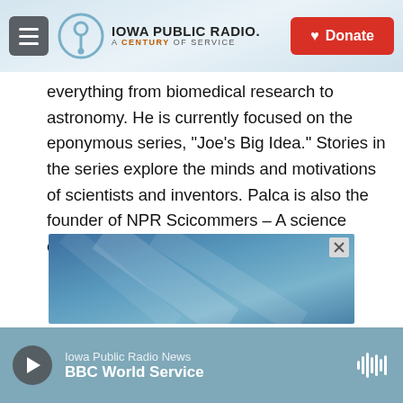Iowa Public Radio. A Century of Service. Donate.
everything from biomedical research to astronomy. He is currently focused on the eponymous series, "Joe's Big Idea." Stories in the series explore the minds and motivations of scientists and inventors. Palca is also the founder of NPR Scicommers – A science communication collective.
See stories by Joe Palca
[Figure (other): Blue gradient advertisement banner with close button (X)]
Iowa Public Radio News BBC World Service